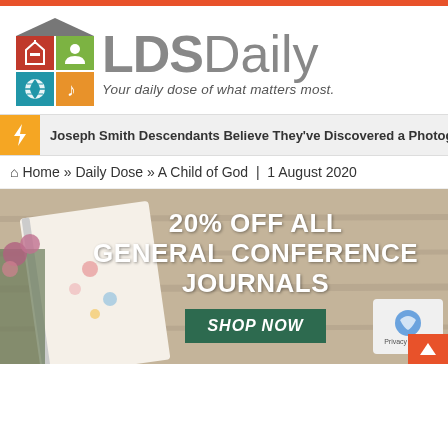[Figure (logo): LDS Daily logo with house icon grid and tagline 'Your daily dose of what matters most.']
Joseph Smith Descendants Believe They've Discovered a Photograph...
Home » Daily Dose » A Child of God | 1 August 2020
[Figure (photo): Advertisement banner: 20% OFF ALL GENERAL CONFERENCE JOURNALS - SHOP NOW, showing a floral journal on a wooden table with flowers]